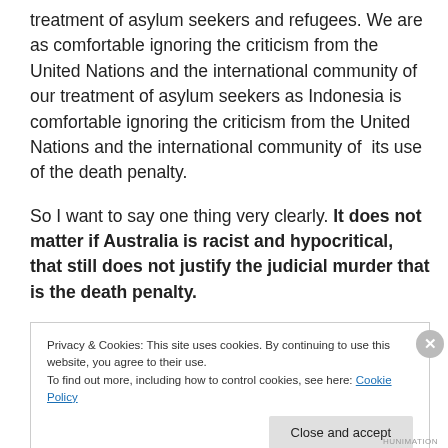treatment of asylum seekers and refugees. We are as comfortable ignoring the criticism from the United Nations and the international community of our treatment of asylum seekers as Indonesia is comfortable ignoring the criticism from the United Nations and the international community of  its use of the death penalty.

So I want to say one thing very clearly. It does not matter if Australia is racist and hypocritical, that still does not justify the judicial murder that is the death penalty.
Privacy & Cookies: This site uses cookies. By continuing to use this website, you agree to their use.
To find out more, including how to control cookies, see here: Cookie Policy
HUNIMATION